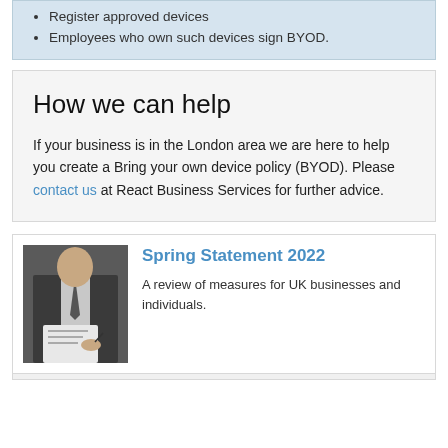Register approved devices
Employees who own such devices sign BYOD.
How we can help
If your business is in the London area we are here to help you create a Bring your own device policy (BYOD). Please contact us at React Business Services for further advice.
[Figure (photo): A man in a suit signing or reviewing a document at a desk]
Spring Statement 2022
A review of measures for UK businesses and individuals.